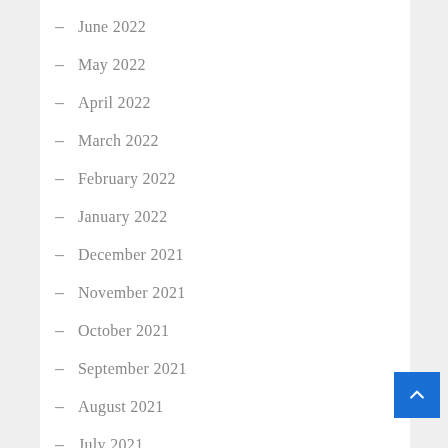- June 2022
- May 2022
- April 2022
- March 2022
- February 2022
- January 2022
- December 2021
- November 2021
- October 2021
- September 2021
- August 2021
- July 2021